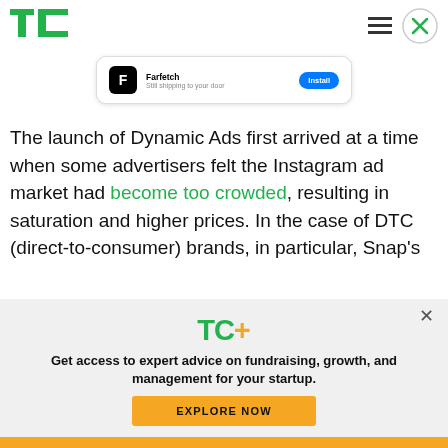TechCrunch header with TC logo, menu icon, and close button
[Figure (screenshot): Farfetch app install card showing app icon, name 'Farfetch', tagline 'Still shipping to your door', and blue 'Install' button]
The launch of Dynamic Ads first arrived at a time when some advertisers felt the Instagram ad market had become too crowded, resulting in saturation and higher prices. In the case of DTC (direct-to-consumer) brands, in particular, Snap's
[Figure (infographic): TechCrunch TC+ subscription overlay with TC+ logo in green and gold, tagline 'Get access to expert advice on fundraising, growth, and management for your startup.' and yellow EXPLORE NOW button]